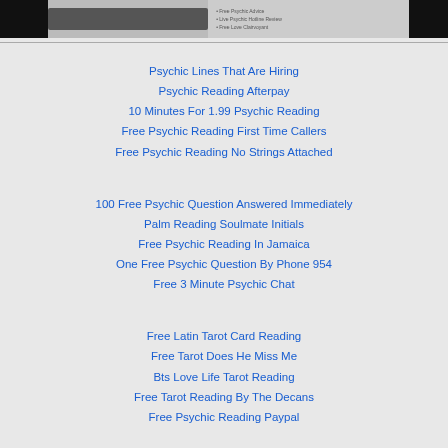[Figure (photo): Partial banner/header image with dark left and right edges and text/graphic in center and right portion]
Psychic Lines That Are Hiring
Psychic Reading Afterpay
10 Minutes For 1.99 Psychic Reading
Free Psychic Reading First Time Callers
Free Psychic Reading No Strings Attached
100 Free Psychic Question Answered Immediately
Palm Reading Soulmate Initials
Free Psychic Reading In Jamaica
One Free Psychic Question By Phone 954
Free 3 Minute Psychic Chat
Free Latin Tarot Card Reading
Free Tarot Does He Miss Me
Bts Love Life Tarot Reading
Free Tarot Reading By The Decans
Free Psychic Reading Paypal
Free 10 Minute Psychic Chat